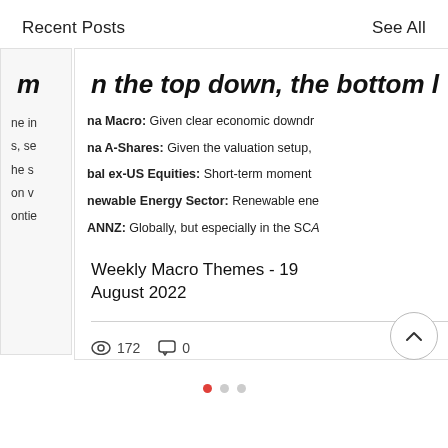Recent Posts    See All
m n the top down, the bottom l
ne in na Macro: Given clear economic downdr
s, se na A-Shares: Given the valuation setup,
he s bal ex-US Equities: Short-term moment
on w newable Energy Sector: Renewable ene
ontie ANNZ: Globally, but especially in the SCA
Weekly Macro Themes - 19 August 2022
172 views  0 comments  likes
[Figure (other): Partial view of a chart with y-axis labels: 3.0%, 2.5%, 2.0%, 1.5%, 1.0%, 0.5%, 0.0%]